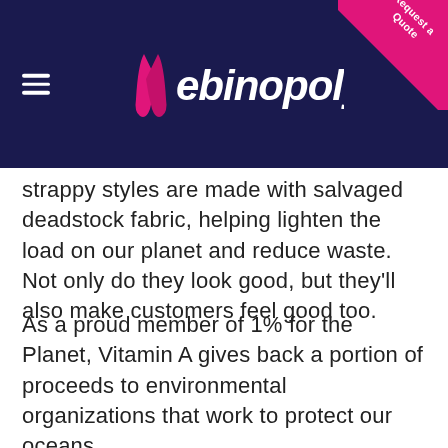Webinopoly | Request a Quote
strappy styles are made with salvaged deadstock fabric, helping lighten the load on our planet and reduce waste. Not only do they look good, but they'll also make customers feel good too.
As a proud member of 1% for the Planet, Vitamin A gives back a portion of proceeds to environmental organizations that work to protect our oceans.